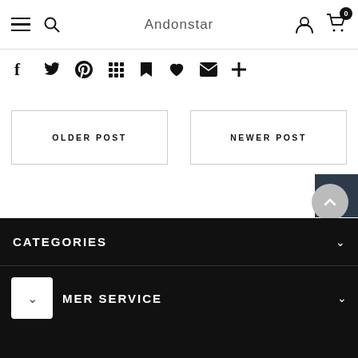Andonstar
[Figure (screenshot): Social sharing icons bar: Facebook, Twitter, Pinterest, Grid, Bookmark, Heart, Email, Plus]
[Figure (screenshot): Dark blue search button with magnifying glass icon, top right]
OLDER POST
NEWER POST
CATEGORIES
MER SERVICE